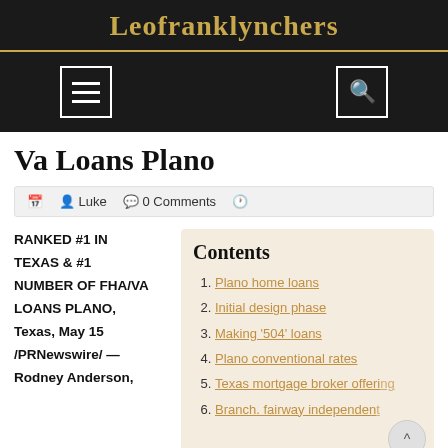Leofranklynchers
Va Loans Plano
Luke   0 Comments
RANKED #1 IN TEXAS & #1 NUMBER OF FHA/VA LOANS PLANO, Texas, May 15 /PRNewswire/ — Rodney Anderson,
Contents
Plano home loans
Initial design phase
Making '504' loans
Plano conventional rates
Texas mortgage broker offering
Branch. fairway independent